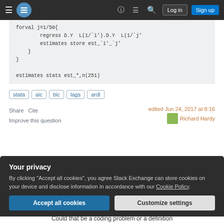Stack Exchange navigation bar with hamburger menu, logo, help, chat, search icons, Log in and Sign up buttons
forval j=1/50{
        regress D.Y  L(1/`i').D.Y  L(1/`j'
        estimates store est_`i'_`j'
    }
}
estimates stats est_*,n(251)
stata
aic
bic
lags
ardl
Share   Cite
Improve this question
edited Jun 24, 2017 at 8:16
Richard Hardy
Your privacy
By clicking "Accept all cookies", you agree Stack Exchange can store cookies on your device and disclose information in accordance with our Cookie Policy.
Accept all cookies
Customize settings
Could that be a coding problem or a definition